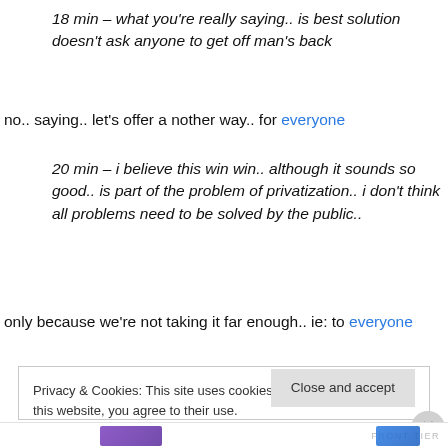18 min – what you're really saying.. is best solution doesn't ask anyone to get off man's back
no.. saying.. let's offer a nother way.. for everyone
20 min – i believe this win win.. although it sounds so good.. is part of the problem of privatization.. i don't think all problems need to be solved by the public..
only because we're not taking it far enough.. ie: to everyone
Privacy & Cookies: This site uses cookies. By continuing to use this website, you agree to their use. To find out more, including how to control cookies, see here: Cookie Policy
Close and accept